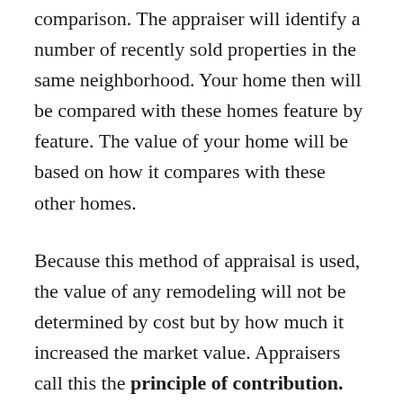comparison. The appraiser will identify a number of recently sold properties in the same neighborhood. Your home then will be compared with these homes feature by feature. The value of your home will be based on how it compares with these other homes.
Because this method of appraisal is used, the value of any remodeling will not be determined by cost but by how much it increased the market value. Appraisers call this the principle of contribution.
For example, suppose you add a fireplace that cost $4,000. The...